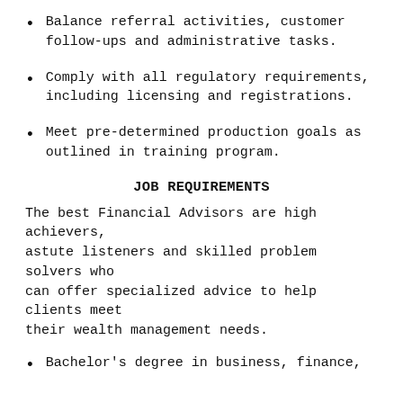Balance referral activities, customer follow-ups and administrative tasks.
Comply with all regulatory requirements, including licensing and registrations.
Meet pre-determined production goals as outlined in training program.
JOB REQUIREMENTS
The best Financial Advisors are high achievers, astute listeners and skilled problem solvers who can offer specialized advice to help clients meet their wealth management needs.
Bachelor's degree in business, finance,